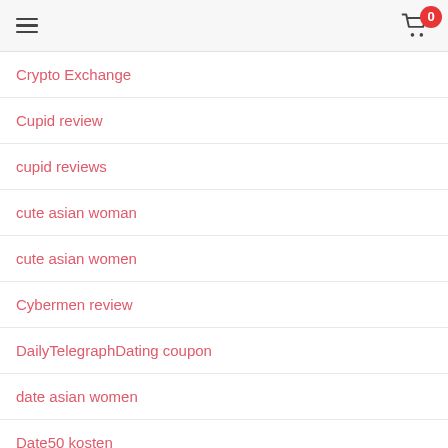≡  🛒 0
Crypto Exchange
Cupid review
cupid reviews
cute asian woman
cute asian women
Cybermen review
DailyTelegraphDating coupon
date asian women
Date50 kosten
dating
dating apps